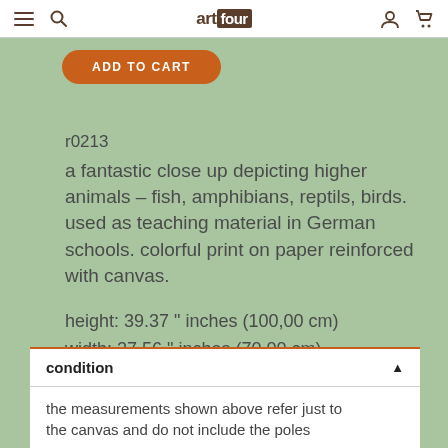art four — navigation header with hamburger, search, logo, user and cart icons
[Figure (screenshot): Orange 'ADD TO CART' button]
r0213
a fantastic close up depicting higher animals – fish, amphibians, reptils, birds. used as teaching material in German schools. colorful print on paper reinforced with canvas.
height: 39.37 " inches (100,00 cm)
width: 27.56 " inches (70,00 cm)
condition
the measurements shown above refer just to the canvas and do not include the poles